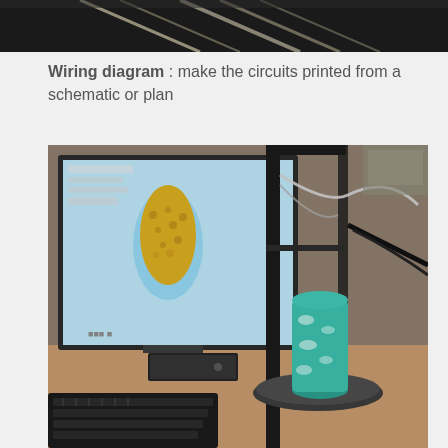[Figure (photo): Top portion of a photo showing light streaks or cables against a dark background]
Wiring diagram : make the circuits printed from a schematic or plan
[Figure (photo): Photo of a 3D printer with a computer monitor in the background showing a CAD model of a vase/object in blue and yellow. A teal/green 3D-printed object is visible on the print platform. A keyboard and other lab equipment are on the desk.]